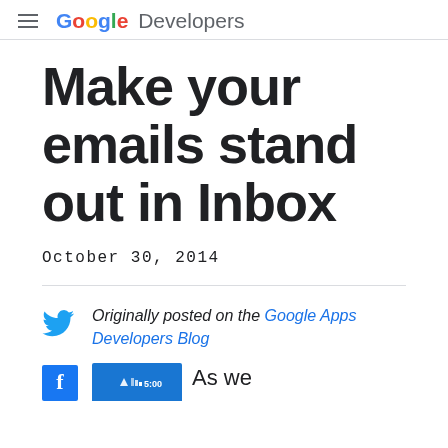Google Developers
Make your emails stand out in Inbox
October 30, 2014
Originally posted on the Google Apps Developers Blog
As we